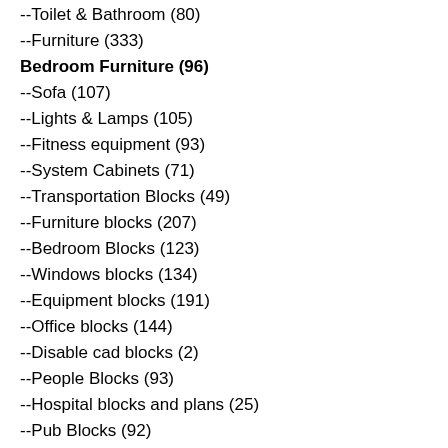--Toilet & Bathroom (80)
--Furniture (333)
Bedroom Furniture (96)
--Sofa (107)
--Lights & Lamps (105)
--Fitness equipment (93)
--System Cabinets (71)
--Transportation Blocks (49)
--Furniture blocks (207)
--Bedroom Blocks (123)
--Windows blocks (134)
--Equipment blocks (191)
--Office blocks (144)
--Disable cad blocks (2)
--People Blocks (93)
--Hospital blocks and plans (25)
--Pub Blocks (92)
--Library Blocks (106)
--Vehicles Blocks (82)
--Tree Blocks (76)
--Animal Blocks (55)